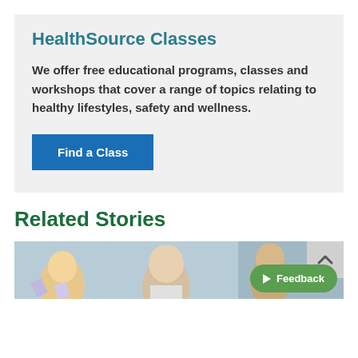HealthSource Classes
We offer free educational programs, classes and workshops that cover a range of topics relating to healthy lifestyles, safety and wellness.
Find a Class
Related Stories
[Figure (photo): Children with raised hands, outdoor or school setting]